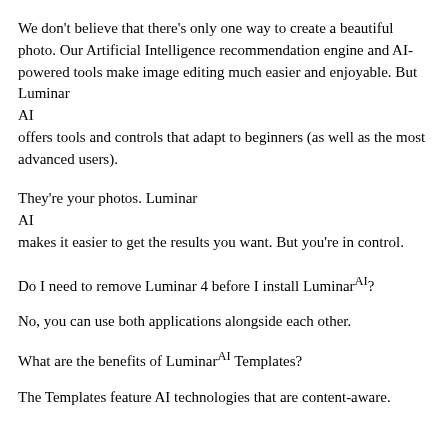We don't believe that there's only one way to create a beautiful photo. Our Artificial Intelligence recommendation engine and AI-powered tools make image editing much easier and enjoyable. But Luminar AI offers tools and controls that adapt to beginners (as well as the most advanced users).
They're your photos. Luminar AI makes it easier to get the results you want. But you're in control.
Do I need to remove Luminar 4 before I install LuminarAI?
No, you can use both applications alongside each other.
What are the benefits of LuminarAI Templates?
The Templates feature AI technologies that are content-aware.